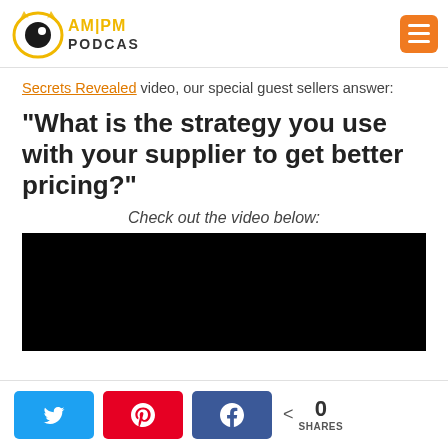[Figure (logo): AM PM Podcast logo with orange cat and text]
Secrets Revealed video, our special guest sellers answer:
“What is the strategy you use with your supplier to get better pricing?”
Check out the video below:
[Figure (screenshot): Black video thumbnail/embed placeholder]
[Figure (infographic): Social share bar with Twitter, Pinterest, Facebook buttons and 0 SHARES count]